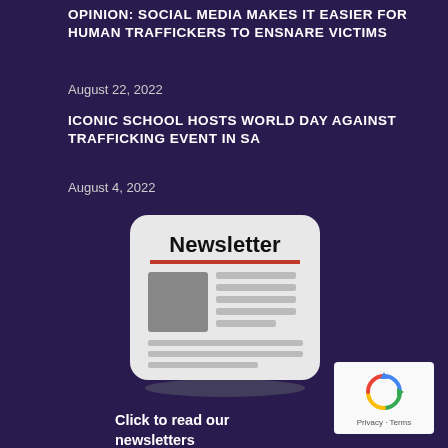OPINION: SOCIAL MEDIA MAKES IT EASIER FOR HUMAN TRAFFICKERS TO ENSNARE VICTIMS
August 22, 2022
ICONIC SCHOOL HOSTS WORLD DAY AGAINST TRAFFICKING EVENT IN SA
August 4, 2022
[Figure (illustration): Newsletter icon: a folded newspaper with 'Newsletter' header text, a red underline, a grey image placeholder and grey text lines, on a light rounded-rectangle background with a shadow beneath.]
Click to read our newsletters
[Figure (logo): Google reCAPTCHA badge with rotating arrows icon and 'Privacy - Terms' text on a white rounded rectangle background.]